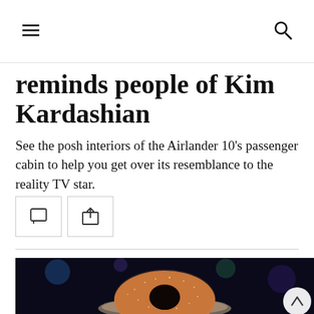[hamburger menu] [search icon]
reminds people of Kim Kardashian
See the posh interiors of the Airlander 10's passenger cabin to help you get over its resemblance to the reality TV star.
[Figure (photo): A cinnamon sugar-dusted donut on a metallic plate against a dark background with colorful bokeh lights]